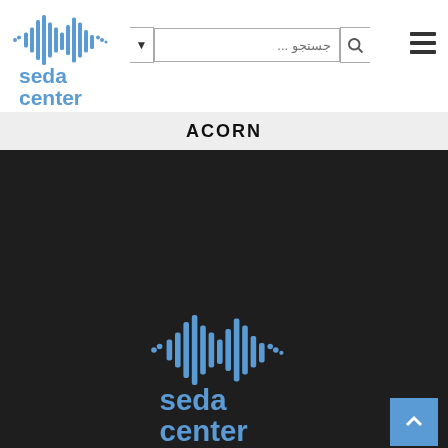[Figure (logo): Seda Center logo with waveform icon in blue, top-left header]
[Figure (screenshot): Search bar with Persian placeholder text 'جستجو ...' and dropdown arrow]
[Figure (infographic): Hamburger menu icon (three horizontal lines)]
ACORN
[Figure (logo): Seda Center logo large centered on dark background in footer]
صدا سنتر - دفتر ارسال: خیابان جمهوری - بین پل حافظ و چهارراه استانبول -روبروی هتل نادری -کوچه گوهرشاد -پلاک 17
تلفن : 02166738678    همراه : 09120307553